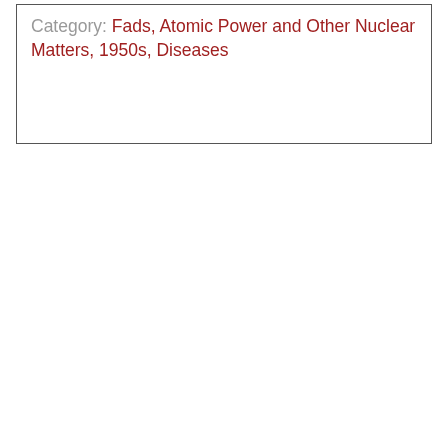Category: Fads, Atomic Power and Other Nuclear Matters, 1950s, Diseases